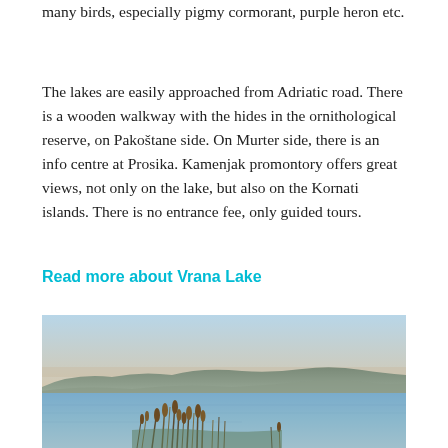many birds, especially pigmy cormorant, purple heron etc.
The lakes are easily approached from Adriatic road. There is a wooden walkway with the hides in the ornithological reserve, on Pakoštane side. On Murter side, there is an info centre at Prosika. Kamenjak promontory offers great views, not only on the lake, but also on the Kornati islands. There is no entrance fee, only guided tours.
Read more about Vrana Lake
[Figure (photo): Landscape photo of Vrana Lake with reeds and cattails in the foreground, calm water reflecting the sky, and low hills/mountains in the background under a pale blue and peach-toned sky.]